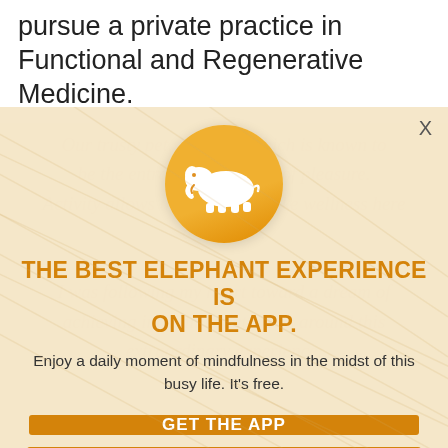pursue a private practice in Functional and Regenerative Medicine.
[Figure (logo): Orange circle with white elephant silhouette logo for the Elephant app]
THE BEST ELEPHANT EXPERIENCE IS ON THE APP.
Enjoy a daily moment of mindfulness in the midst of this busy life. It's free.
GET THE APP
OPEN IN APP